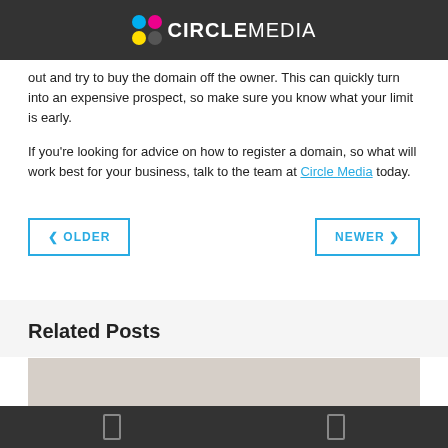[Figure (logo): Circle Media logo on dark header bar with colored dots grid (cyan, magenta, yellow, dark) and white text CIRCLEMEDIA]
out and try to buy the domain off the owner. This can quickly turn into an expensive prospect, so make sure you know what your limit is early.
If you’re looking for advice on how to register a domain, so what will work best for your business, talk to the team at Circle Media today.
❮ OLDER
NEWER ❯
Related Posts
[Figure (photo): Partial image of a light-colored photo at bottom of related posts section]